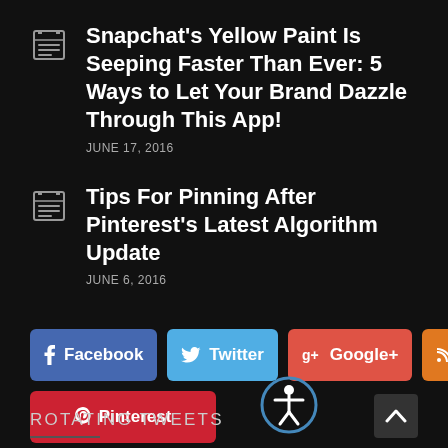Snapchat's Yellow Paint Is Seeping Faster Than Ever: 5 Ways to Let Your Brand Dazzle Through This App! — JUNE 17, 2016
Tips For Pinning After Pinterest's Latest Algorithm Update — JUNE 6, 2016
[Figure (other): Social share buttons: Facebook (blue), Twitter (light blue), Google+ (red-orange), RSS (orange), Pinterest (red)]
ROTATING TWEETS
[Figure (other): Accessibility icon — person in circle logo]